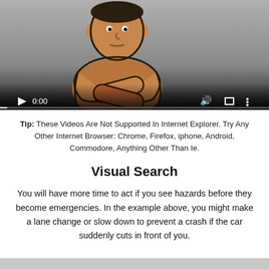[Figure (screenshot): Video player showing an illustrated cartoon man with arms crossed on a grey background. Controls visible: play button, timestamp '0:00', volume icon, fullscreen icon, settings icon, and a progress bar at the bottom.]
Tip: These Videos Are Not Supported In Internet Explorer. Try Any Other Internet Browser: Chrome, Firefox, iphone, Android, Commodore, Anything Other Than Ie.
Visual Search
You will have more time to act if you see hazards before they become emergencies. In the example above, you might make a lane change or slow down to prevent a crash if the car suddenly cuts in front of you.